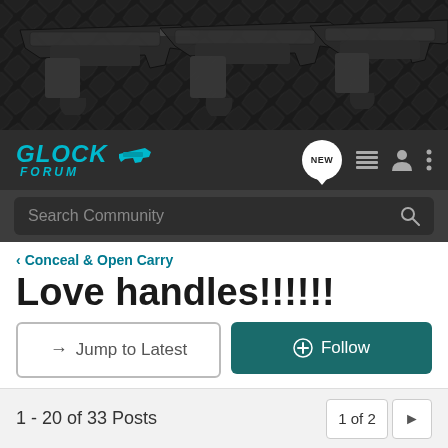[Figure (photo): Banner image showing three black Glock pistols on a dark diamond plate metal surface]
GLOCK FORUM
Search Community
< Conceal & Open Carry
Love handles!!!!!!
→ Jump to Latest
+ Follow
1 - 20 of 33 Posts
1 of 2
singyourdeathsong · Registered